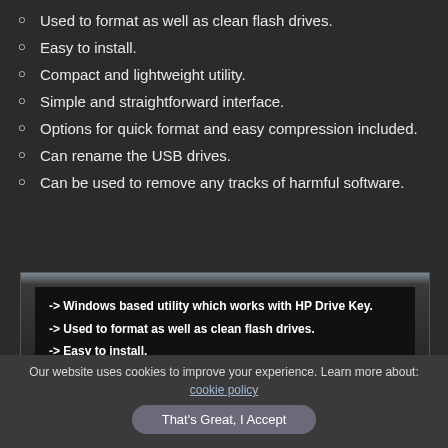Used to format as well as clean flash drives.
Easy to install.
Compact and lightweight utility.
Simple and straightforward interface.
Options for quick format and easy compression included.
Can rename the USB drives.
Can be used to remove any tracks of harmful software.
[Figure (screenshot): Screenshot of a dark application window showing bold text lines: '-> Windows based utility which works with HP Drive Key.', '-> Used to format as well as clean flash drives.', '-> Easy to install.', '-> Compact and lightweight utility.']
Our website uses cookies to improve your experience. Learn more about: cookie policy
That's Great, I Accept